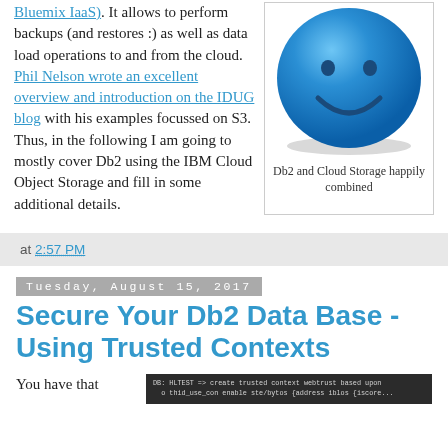Bluemix IaaS). It allows to perform backups (and restores :) as well as data load operations to and from the cloud. Phil Nelson wrote an excellent overview and introduction on the IDUG blog with his examples focussed on S3. Thus, in the following I am going to mostly cover Db2 using the IBM Cloud Object Storage and fill in some additional details.
[Figure (illustration): Blue smiley face emoji-like icon with a shadow beneath it, representing Db2 and Cloud Storage combined]
Db2 and Cloud Storage happily combined
at 2:57 PM
Tuesday, August 15, 2017
Secure Your Db2 Data Base - Using Trusted Contexts
You have that
DB: HLTEST => create trusted context webtrust based upon
  o thid_use_con enable ste/bytos (address iblos (iscore...